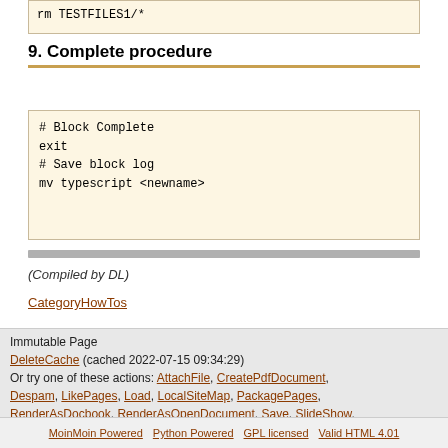rm TESTFILES1/*
9. Complete procedure
# Block Complete
exit
# Save block log
mv typescript <newname>
(Compiled by DL)
CategoryHowTos
Immutable Page
DeleteCache (cached 2022-07-15 09:34:29)
Or try one of these actions: AttachFile, CreatePdfDocument, Despam, LikePages, Load, LocalSiteMap, PackagePages, RenderAsDocbook, RenderAsOpenDocument, Save, SlideShow, SpellCheck, SubscribeUser, SyncPages
MoinMoin Powered  Python Powered  GPL licensed  Valid HTML 4.01